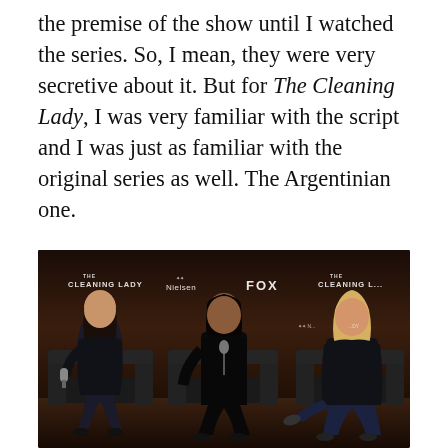the premise of the show until I watched the series. So, I mean, they were very secretive about it. But for The Cleaning Lady, I was very familiar with the script and I was just as familiar with the original series as well. The Argentinian one.
[Figure (photo): Three women seated in black chairs/sofas on a stage panel, with a dark backdrop showing logos for 'The Cleaning Lady', 'Nielsen', 'FOX'. The woman on the left holds a microphone and wears a dark jacket. The woman in the center wears an all-black outfit. The woman on the right wears a black leather jacket and jeans.]